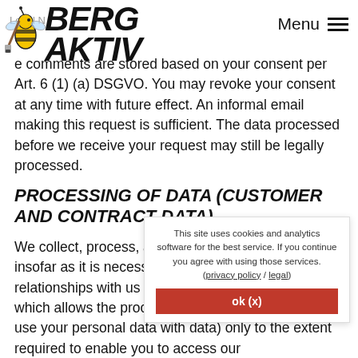Legal Notice — BERG AKTIV — Menu
e comments are stored based on your consent per Art. 6 (1) (a) DSGVO. You may revoke your consent at any time with future effect. An informal email making this request is sufficient. The data processed before we receive your request may still be legally processed.
PROCESSING OF DATA (CUSTOMER AND CONTRACT DATA)
We collect, process, and use personal data only insofar as it is necessary to establish, or modify legal relationships with us (master data). This is do which allows the proces measures preliminary t use your personal data data) only to the extent required to enable you to access our
This site uses cookies and analytics software for the best service. If you continue you agree with using those services. (privacy policy / legal)
ok (x)